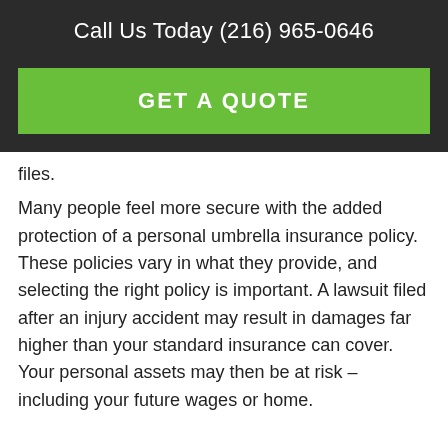Call Us Today (216) 965-0646
[Figure (other): Green 'GET A QUOTE' button on dark background]
files.
Many people feel more secure with the added protection of a personal umbrella insurance policy. These policies vary in what they provide, and selecting the right policy is important. A lawsuit filed after an injury accident may result in damages far higher than your standard insurance can cover. Your personal assets may then be at risk – including your future wages or home.